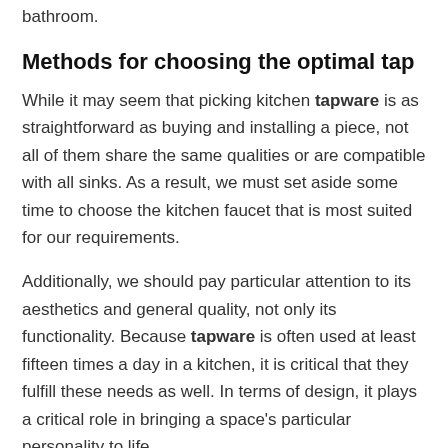bathroom.
Methods for choosing the optimal tap
While it may seem that picking kitchen tapware is as straightforward as buying and installing a piece, not all of them share the same qualities or are compatible with all sinks. As a result, we must set aside some time to choose the kitchen faucet that is most suited for our requirements.
Additionally, we should pay particular attention to its aesthetics and general quality, not only its functionality. Because tapware is often used at least fifteen times a day in a kitchen, it is critical that they fulfill these needs as well. In terms of design, it plays a critical role in bringing a space's particular personality to life.
Following that, we'll learn some tips and tricks for choosing the greatest faucet.